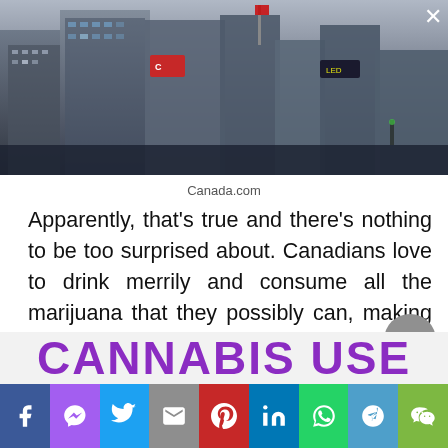[Figure (photo): Urban cityscape photo showing tall buildings and skyscrapers from a low angle, with a Canadian flag visible. Dark/grey tones.]
Canada.com
Apparently, that’s true and there’s nothing to be too surprised about. Canadians love to drink merrily and consume all the marijuana that they possibly can, making them a rare first of a kind that spends a hefty amount on booze as also on marijuana.
[Figure (other): CANNABIS USE text banner in large purple bold letters]
[Figure (other): Social media share bar with icons for Facebook, Messenger, Twitter, Gmail, Pinterest, LinkedIn, WhatsApp, Telegram, WeChat]